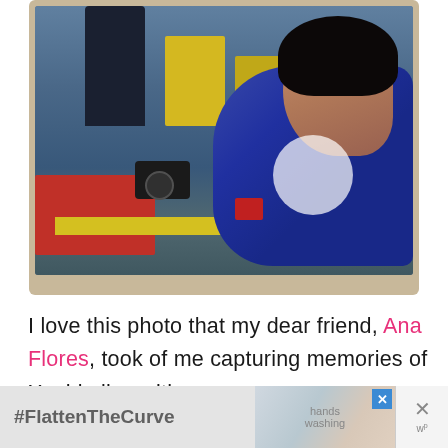[Figure (photo): A woman holding a camera at Xochimilco, photographing from a colorful boat. Vibrant scene with red and yellow boats in the background, a man also visible, waterway setting.]
I love this photo that my dear friend, Ana Flores, took of me capturing memories of Xochimilco with my
[Figure (infographic): Advertisement banner at the bottom showing #FlattenTheCurve hashtag with an image of hands washing and a close button.]